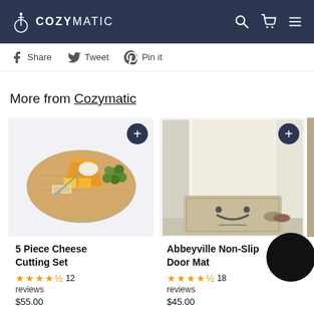COZYMATIC
Share   Tweet   Pin it
More from Cozymatic
[Figure (photo): 5 Piece Cheese Cutting Set product photo — wooden board with cheeses, grapes, and knives]
5 Piece Cheese Cutting Set
★★★★½  12 reviews
$55.00
[Figure (photo): Abbeyville Non-Slip Door Mat product photo — beige mat with :U: face in front of a door]
Abbeyville Non-Slip Door Mat
★★★★½  18 reviews
$45.00
[Figure (photo): Partially visible third product photo]